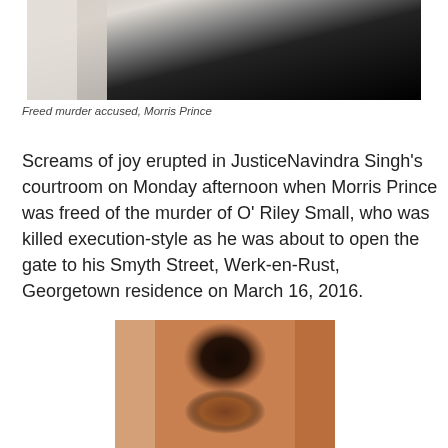[Figure (photo): Partial photo of Morris Prince, freed murder accused, showing dark clothing against light background]
Freed murder accused, Morris Prince
Screams of joy erupted in JusticeNavindra Singh's courtroom on Monday afternoon when Morris Prince was freed of the murder of O' Riley Small, who was killed execution-style as he was about to open the gate to his Smyth Street, Werk-en-Rust, Georgetown residence on March 16, 2016.
[Figure (photo): Photo of a man (O' Riley Small) shown from the shoulders up, side/slightly turned view]